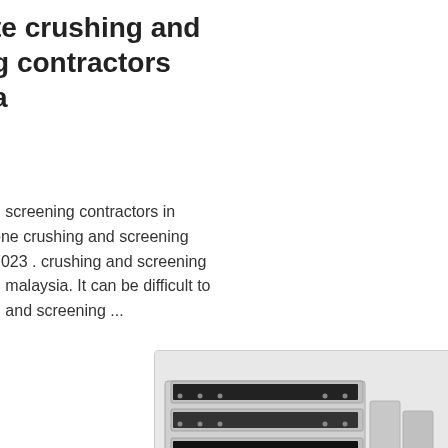te crushing and g contractors a
d screening contractors in one crushing and screening 7023 . crushing and screening n malaysia. It can be difficult to g and screening ...
[Figure (photo): Photo of an AMC industrial vibrating screen / screening machine, large grey rectangular box with multiple deck screens, bolted steel frame construction, with AMC brand logo visible on the side. A chat bubble UI element overlays the bottom right corner.]